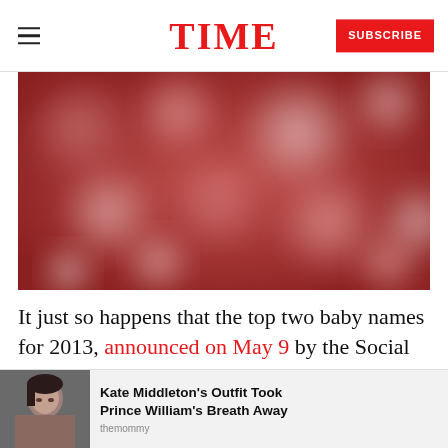TIME  SUBSCRIBE
[Figure (photo): Blurred bokeh background image with red and pink tones, soft circular light spots]
It just so happens that the top two baby names for 2013, announced on May 9 by the Social Security Administration, were Sophia and Noah, both of which...
[Figure (photo): Thumbnail of Kate Middleton with advertisement text: Kate Middleton's Outfit Took Prince William's Breath Away]